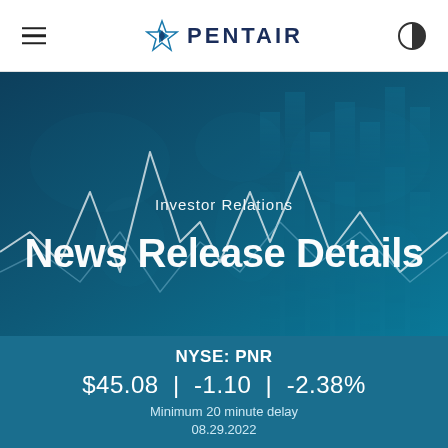PENTAIR — Navigation header with logo, hamburger menu, and theme toggle
[Figure (illustration): Dark teal financial hero image with stylized world map, stock chart lines, and vertical bar chart columns in background. Text overlaid: 'Investor Relations' and 'News Release Details']
NYSE: PNR
$45.08  |  -1.10  |  -2.38%
Minimum 20 minute delay
08.29.2022